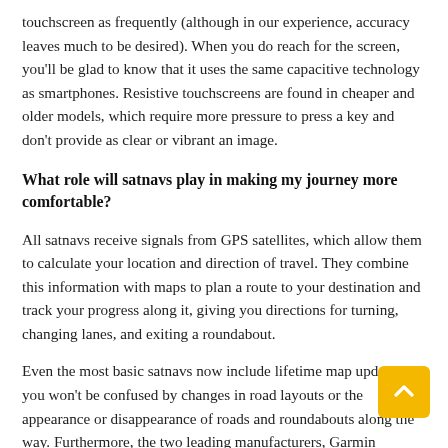touchscreen as frequently (although in our experience, accuracy leaves much to be desired). When you do reach for the screen, you'll be glad to know that it uses the same capacitive technology as smartphones. Resistive touchscreens are found in cheaper and older models, which require more pressure to press a key and don't provide as clear or vibrant an image.
What role will satnavs play in making my journey more comfortable?
All satnavs receive signals from GPS satellites, which allow them to calculate your location and direction of travel. They combine this information with maps to plan a route to your destination and track your progress along it, giving you directions for turning, changing lanes, and exiting a roundabout.
Even the most basic satnavs now include lifetime map updates, so you won't be confused by changes in road layouts or the appearance or disappearance of roads and roundabouts along the way. Furthermore, the two leading manufacturers, Garmin